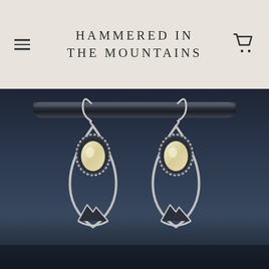HAMMERED IN THE MOUNTAINS
[Figure (photo): A pair of silver mountain teardrop earrings with cream/ivory stone cabochons, featuring an open teardrop shape with mountain silhouette cutouts at the bottom, hanging from lever-back ear wires on a dark metal rod, photographed against a dark navy/charcoal background.]